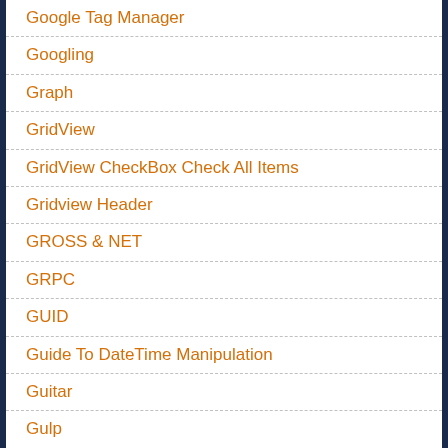Google Tag Manager
Googling
Graph
GridView
GridView CheckBox Check All Items
Gridview Header
GROSS & NET
GRPC
GUID
Guide To DateTime Manipulation
Guitar
Gulp
Hack Não 1500 Từ
Hải Sản Linh Đàm
Half-Width
Handle Million Requests Per Second